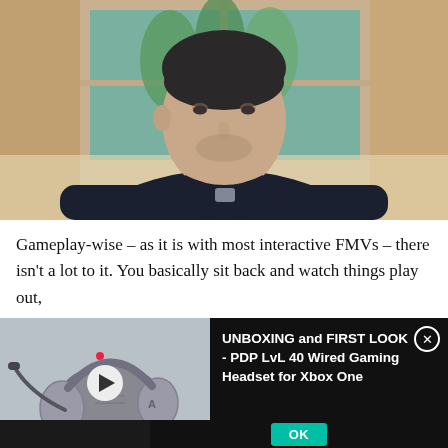[Figure (photo): A man in a dark navy/black cable-knit sweater sitting at a table, leaning forward slightly, looking pensively to the side. Background shows a window with green plants visible outside and warm-toned walls.]
Gameplay-wise – as it is with most interactive FMVs – there isn't a lot to it. You basically sit back and watch things play out,
[Figure (screenshot): An ad overlay showing a gaming headset (PDP LvL 40 Wired) on the left as a video thumbnail with a play button, and on the right a dark panel with text: 'UNBOXING and FIRST LOOK - PDP LvL 40 Wired Gaming Headset for Xbox One' with a close button (X) and an OK button at the bottom.]